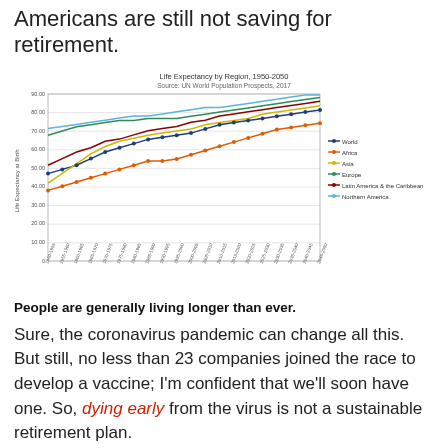Americans are still not saving for retirement.
[Figure (line-chart): Life Expectancy by Region, 1950-2050]
People are generally living longer than ever.
Sure, the coronavirus pandemic can change all this. But still, no less than 23 companies joined the race to develop a vaccine; I'm confident that we'll soon have one. So, dying early from the virus is not a sustainable retirement plan.